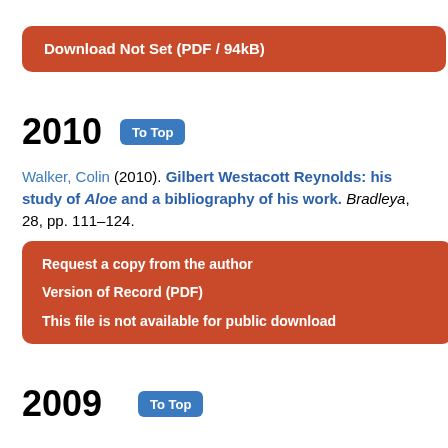[Figure (other): Red rounded-rectangle button with white bold text: Download Not Set (PDF / 94kB)]
2010   To Top
Walker, Colin (2010). Gilbert Westacott Reynolds: his study of Aloe and a bibliography of his work. Bradleya, 28, pp. 111–124.
[Figure (other): Red rounded-rectangle box with three white bold text lines: Request a copy from the author / Version of Record (PDF) / This file is not available for public download]
2009   To Top